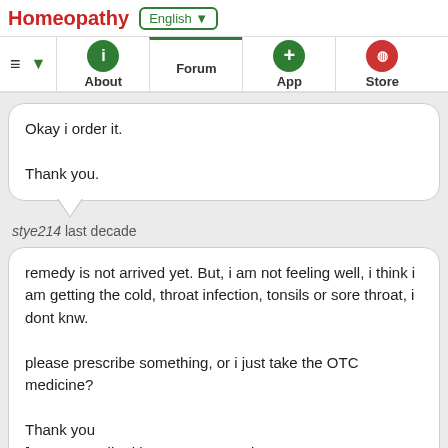Homeopathy  English ▼
≡  ▼   About   Forum   App   Store
Okay i order it.

Thank you.
stye214 last decade
remedy is not arrived yet. But, i am not feeling well, i think i am getting the cold, throat infection, tonsils or sore throat, i dont knw.

please prescribe something, or i just take the OTC medicine?

Thank you
[message edited by stye214 on Fri, 24 Jun 2011 23:24:01 BST]